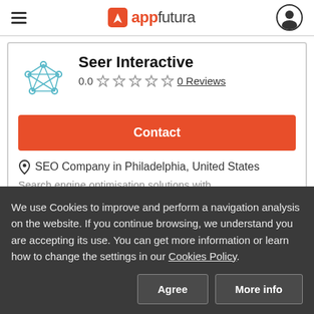appfutura
Seer Interactive
0.0  0 Reviews
Contact
SEO Company in Philadelphia, United States
We use Cookies to improve and perform a navigation analysis on the website. If you continue browsing, we understand you are accepting its use. You can get more information or learn how to change the settings in our Cookies Policy.
Agree
More info